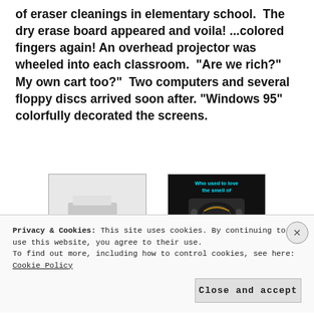of eraser cleanings in elementary school.  The dry erase board appeared and voila! ...colored fingers again! An overhead projector was wheeled into each classroom. "Are we rich?"  My own cart too?"  Two computers and several floppy discs arrived soon after. "Windows 95" colorfully decorated the screens.
[Figure (photo): A white office laser printer/copier (Xerox-style) on a white background]
[Figure (photo): Dark image of a mimeograph/duplicating machine with cyan text 'Who used to love the smell of' at the top, on a black background]
Privacy & Cookies: This site uses cookies. By continuing to use this website, you agree to their use.
To find out more, including how to control cookies, see here: Cookie Policy
Close and accept